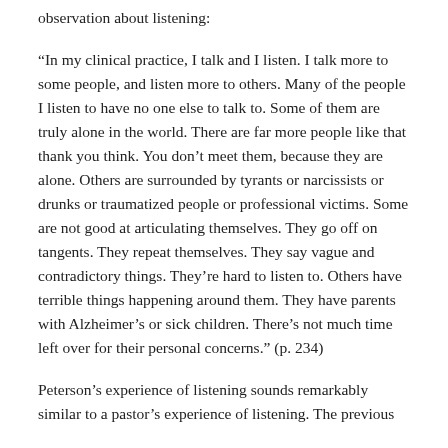observation about listening:
“In my clinical practice, I talk and I listen. I talk more to some people, and listen more to others. Many of the people I listen to have no one else to talk to. Some of them are truly alone in the world. There are far more people like that thank you think. You don’t meet them, because they are alone. Others are surrounded by tyrants or narcissists or drunks or traumatized people or professional victims. Some are not good at articulating themselves. They go off on tangents. They repeat themselves. They say vague and contradictory things. They’re hard to listen to. Others have terrible things happening around them. They have parents with Alzheimer’s or sick children. There’s not much time left over for their personal concerns.” (p. 234)
Peterson’s experience of listening sounds remarkably similar to a pastor’s experience of listening. The previous